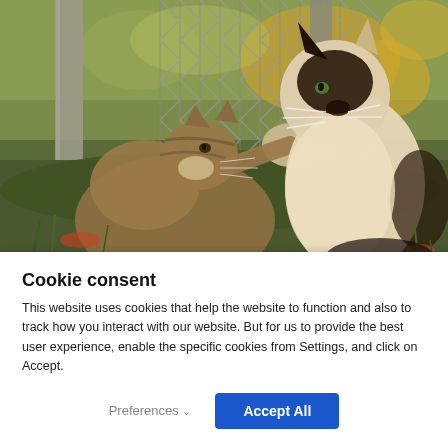[Figure (photo): Two cats interacting outdoors near a chain-link fence. A tabby/wild-looking cat on the left is raising its paw toward a Siamese-type cat on the right. Background shows autumn foliage and a concrete post.]
Cookie consent
This website uses cookies that help the website to function and also to track how you interact with our website. But for us to provide the best user experience, enable the specific cookies from Settings, and click on Accept.
Preferences ∨
Accept All